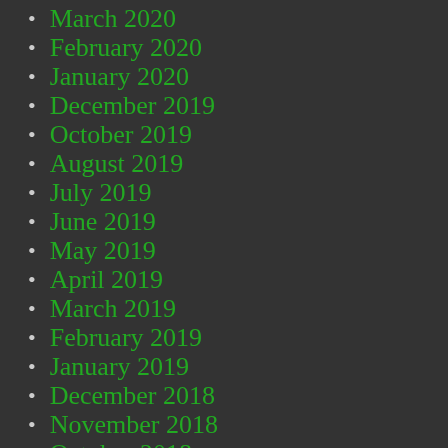March 2020
February 2020
January 2020
December 2019
October 2019
August 2019
July 2019
June 2019
May 2019
April 2019
March 2019
February 2019
January 2019
December 2018
November 2018
October 2018